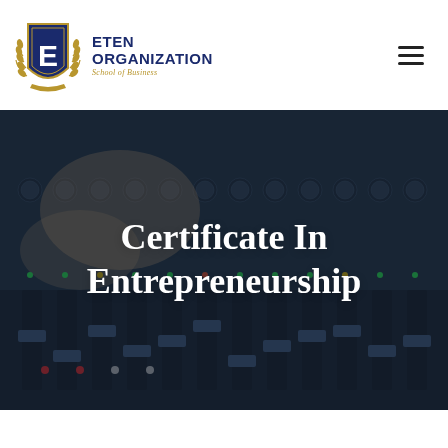[Figure (logo): ETEN Organization School of Business shield logo with 'E' monogram in navy blue, laurel wreath, and gold accents. Organization name in bold navy uppercase text.]
[Figure (photo): Background photo of a hand operating audio mixing console/soundboard knobs, darkened with overlay. Text overlay reads 'Certificate In Entrepreneurship' in white bold serif font.]
Certificate In Entrepreneurship